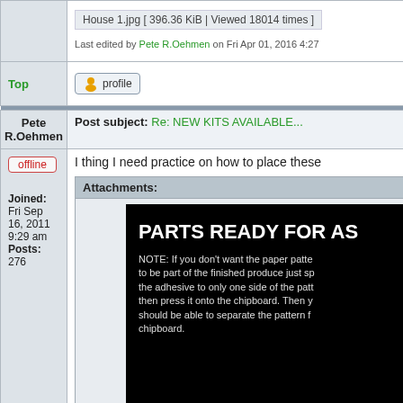House 1.jpg [ 396.36 KiB | Viewed 18014 times ]
Last edited by Pete R.Oehmen on Fri Apr 01, 2016 4:27
Top
profile
Pete R.Oehmen
Post subject: Re: NEW KITS AVAILABLE...
offline
Joined: Fri Sep 16, 2011 9:29 am
Posts: 276
I thing I need practice on how to place these
Attachments:
[Figure (photo): Dark background image with white bold text reading PARTS READY FOR AS[SEMBLY] and a note about paper patterns and chipboard assembly instructions]